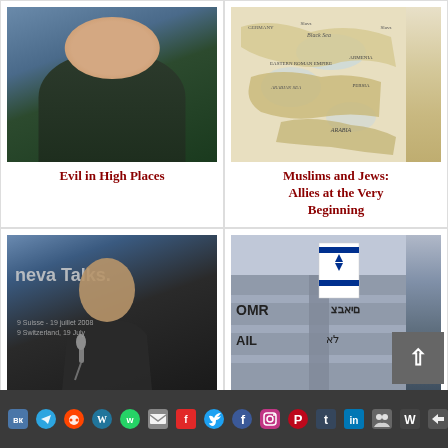[Figure (photo): Portrait photo of a man in a dark suit with a tie, smiling, against a blue background]
Evil in High Places
[Figure (map): Historical map showing the Middle East and surrounding regions including Black Sea, Arabian Sea, Eastern Roman Empire, Persia, Arabia]
Muslims and Jews: Allies at the Very Beginning
[Figure (photo): Man speaking at a podium with a microphone at Geneva Talks event, banner visible in background]
[Figure (photo): Building exterior with Israeli flag (Star of David) and Hebrew text signage]
Social media sharing bar with icons: VK, Telegram, Reddit, WordPress, WhatsApp, Email, Flipboard, Twitter, Facebook, Instagram, Pinterest, Tumblr, LinkedIn, Share, Weebly, Share